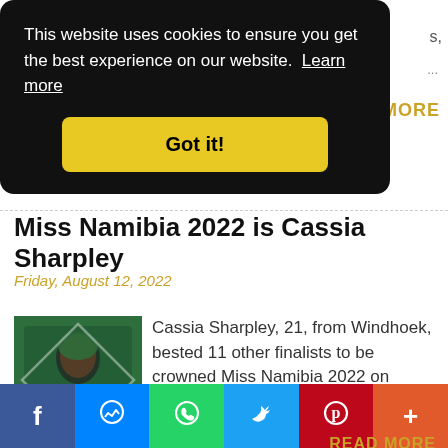This website uses cookies to ensure you get the best experience on our website. Learn more
Got it!
...
MORE
Miss Namibia 2022 is Cassia Sharpley
Friday, August 12, 2022
[Figure (photo): Photo of Cassia Sharpley, Miss Namibia 2022 contestant, wearing green outfit with decorative frame]
Cassia Sharpley, 21, from Windhoek, bested 11 other finalists to be crowned Miss Namibia 2022 on Friday, August ...
READ MORE
f  [messenger]  [whatsapp]  [twitter]  p  +